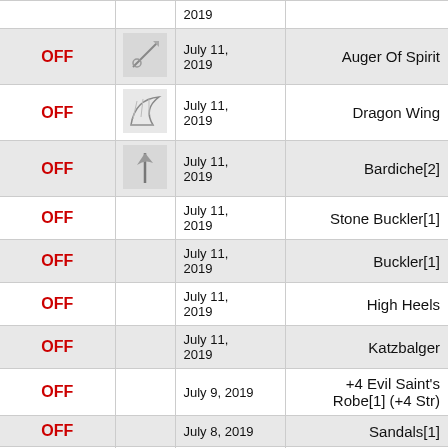| Status | Icon | Date | Item |
| --- | --- | --- | --- |
| OFF |  | 2019 |  |
| OFF | [icon] | July 11, 2019 | Auger Of Spirit |
| OFF | [icon] | July 11, 2019 | Dragon Wing |
| OFF | [icon] | July 11, 2019 | Bardiche[2] |
| OFF |  | July 11, 2019 | Stone Buckler[1] |
| OFF |  | July 11, 2019 | Buckler[1] |
| OFF |  | July 11, 2019 | High Heels |
| OFF |  | July 11, 2019 | Katzbalger |
| OFF |  | July 9, 2019 | +4 Evil Saint's Robe[1] (+4 Str) |
| OFF |  | July 8, 2019 | Sandals[1] |
| OFF |  | July 8, 2019 | Crimson Dagger[2] |
| OFF |  | July 1, 2019 | Gaia Whip |
| OFF |  | June 29, 2019 | Unholy Touch |
| OFF |  | June 26, 2019 | Book of Billows |
| OFF |  | June 26, 2019 | Wooden Mail[1] |
| OFF |  | June 25, | Cauda Daemonica[1] |